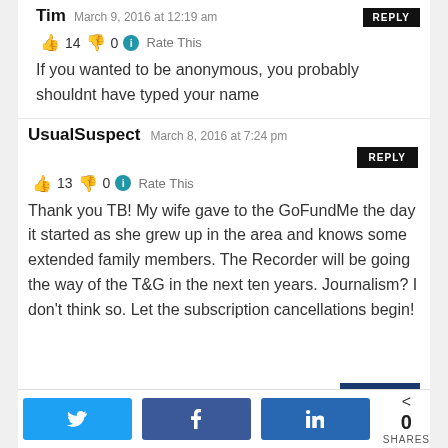Tim  March 9, 2016 at 12:19 am  REPLY
👍 14  👎 0  ℹ Rate This
If you wanted to be anonymous, you probably shouldnt have typed your name
UsualSuspect  March 8, 2016 at 7:24 pm  REPLY
👍 13  👎 0  ℹ Rate This
Thank you TB! My wife gave to the GoFundMe the day it started as she grew up in the area and knows some extended family members. The Recorder will be going the way of the T&G in the next ten years. Journalism? I don't think so. Let the subscription cancellations begin!
Twitter  Facebook  LinkedIn  < 0 SHARES